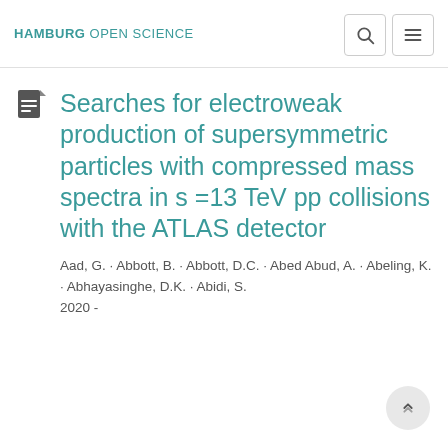HAMBURG OPEN SCIENCE
Searches for electroweak production of supersymmetric particles with compressed mass spectra in s =13 TeV pp collisions with the ATLAS detector
Aad, G. · Abbott, B. · Abbott, D.C. · Abed Abud, A. · Abeling, K. · Abhayasinghe, D.K. · Abidi, S. 2020 -